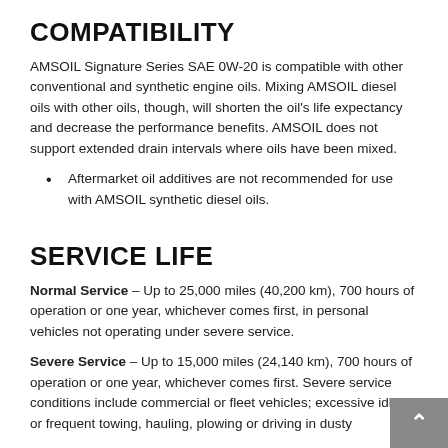COMPATIBILITY
AMSOIL Signature Series SAE 0W-20 is compatible with other conventional and synthetic engine oils. Mixing AMSOIL diesel oils with other oils, though, will shorten the oil's life expectancy and decrease the performance benefits. AMSOIL does not support extended drain intervals where oils have been mixed.
Aftermarket oil additives are not recommended for use with AMSOIL synthetic diesel oils.
SERVICE LIFE
Normal Service – Up to 25,000 miles (40,200 km), 700 hours of operation or one year, whichever comes first, in personal vehicles not operating under severe service.
Severe Service – Up to 15,000 miles (24,140 km), 700 hours of operation or one year, whichever comes first. Severe service conditions include commercial or fleet vehicles; excessive idling; or frequent towing, hauling, plowing or driving in dusty